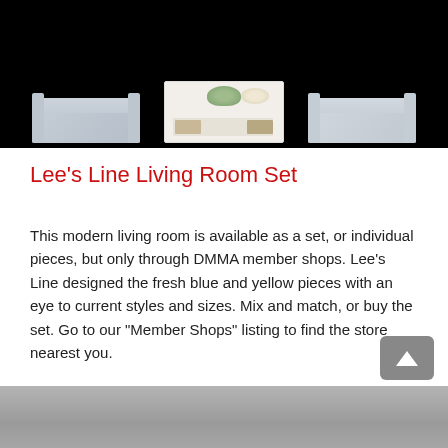[Figure (photo): Living room furniture set displayed against a black background, featuring two light blue/grey upholstered sofas on either side and a white coffee table in the center with decorative items on top including a bowl with flowers and a plate.]
Lee's Line Living Room Set
This modern living room is available as a set, or individual pieces, but only through DMMA member shops. Lee's Line designed the fresh blue and yellow pieces with an eye to current styles and sizes. Mix and match, or buy the set. Go to our "Member Shops" listing to find the store nearest you.
[Figure (photo): Bottom portion of a second product photo, showing a grey surface or floor, partially visible.]